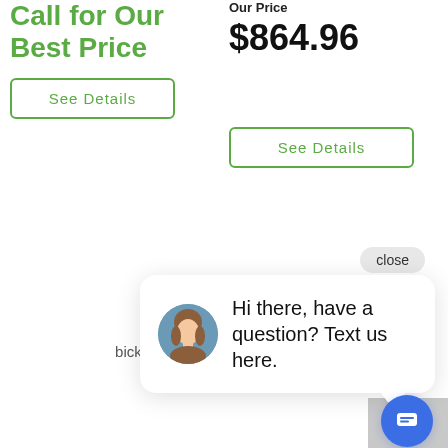Call for Our Best Price
Our Price
$864.96
See Details
See Details
[Figure (screenshot): Chat widget overlay with close button, avatar of a woman, and message: Hi there, have a question? Text us here. Blue circular message button in bottom right.]
Clinton, IA 52732
563-243-0190
bickfordshometown@yahoo.com
HOURS